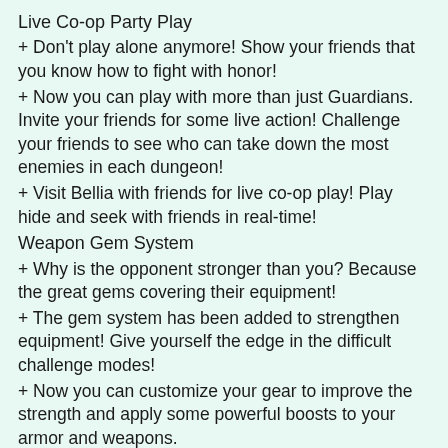Live Co-op Party Play
+ Don't play alone anymore! Show your friends that you know how to fight with honor!
+ Now you can play with more than just Guardians. Invite your friends for some live action! Challenge your friends to see who can take down the most enemies in each dungeon!
+ Visit Bellia with friends for live co-op play! Play hide and seek with friends in real-time!
Weapon Gem System
+ Why is the opponent stronger than you? Because the great gems covering their equipment!
+ The gem system has been added to strengthen equipment! Give yourself the edge in the difficult challenge modes!
+ Now you can customize your gear to improve the strength and apply some powerful boosts to your armor and weapons.
Guild War
+ Decide the strongest guild now! Assault your opponent